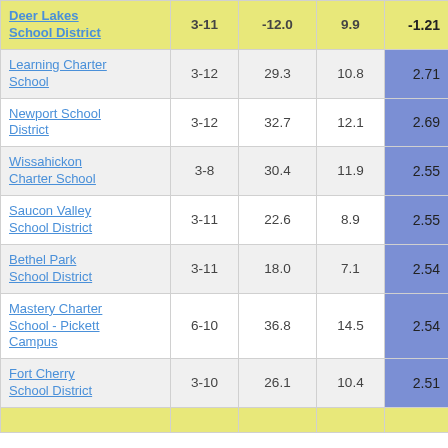|  |  |  |  |  |
| --- | --- | --- | --- | --- |
| Deer Lakes School District | 3-11 | -12.0 | 9.9 | -1.21 |
| Learning Charter School | 3-12 | 29.3 | 10.8 | 2.71 |
| Newport School District | 3-12 | 32.7 | 12.1 | 2.69 |
| Wissahickon Charter School | 3-8 | 30.4 | 11.9 | 2.55 |
| Saucon Valley School District | 3-11 | 22.6 | 8.9 | 2.55 |
| Bethel Park School District | 3-11 | 18.0 | 7.1 | 2.54 |
| Mastery Charter School - Pickett Campus | 6-10 | 36.8 | 14.5 | 2.54 |
| Fort Cherry School District | 3-10 | 26.1 | 10.4 | 2.51 |